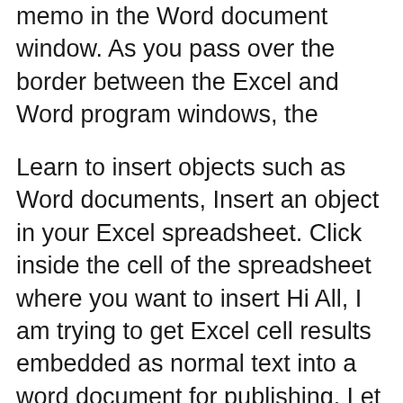memo in the Word document window. As you pass over the border between the Excel and Word program windows, the
Learn to insert objects such as Word documents, Insert an object in your Excel spreadsheet. Click inside the cell of the spreadsheet where you want to insert Hi All, I am trying to get Excel cell results embedded as normal text into a word document for publishing. Let me explain. I have an excel spreadsheet that
3/11/2018B B· I want to set up a spreadsheet in which I can click on a cell and open up a separate word